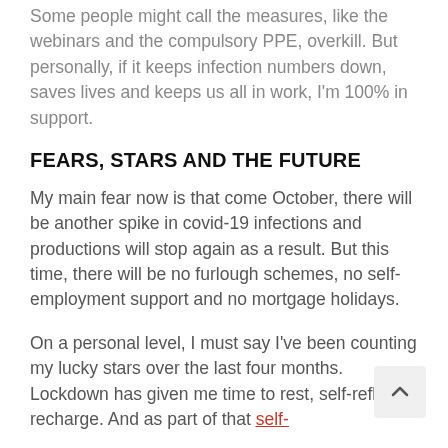Some people might call the measures, like the webinars and the compulsory PPE, overkill. But personally, if it keeps infection numbers down, saves lives and keeps us all in work, I'm 100% in support.
FEARS, STARS AND THE FUTURE
My main fear now is that come October, there will be another spike in covid-19 infections and productions will stop again as a result. But this time, there will be no furlough schemes, no self-employment support and no mortgage holidays.
On a personal level, I must say I've been counting my lucky stars over the last four months. Lockdown has given me time to rest, self-reflect, recharge. And as part of that self-